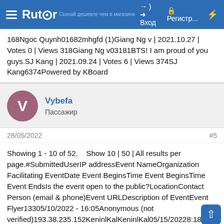Rutor | Вход | Регистр...
168Ngoc Quynh01682mhgfd (1)Giang Ng v | 2021.10.27 | Votes 0 | Views 318Giang Ng v03181BTS! I am proud of you guys.SJ Kang | 2021.09.24 | Votes 6 | Views 374SJ Kang6374Powered by KBoard
Vybefa
Пассажир
28/05/2022
#5
Showing 1 - 10 of 52.    Show 10 | 50 | All results per page.#SubmittedUserIP addressEvent NameOrganization Facilitating EventDate Event BeginsTime Event BeginsTime Event EndsIs the event open to the public?LocationContact Person (email & phone)Event URLDescription of EventEvent Flyer13305/10/2022 - 16:05Anonymous (not verified)193.38.235.152KeninlKalKeninlKal05/15/20228:18 am3:20 amBurkina Faso89817542196https://kwork.com/user/elitestarl share with